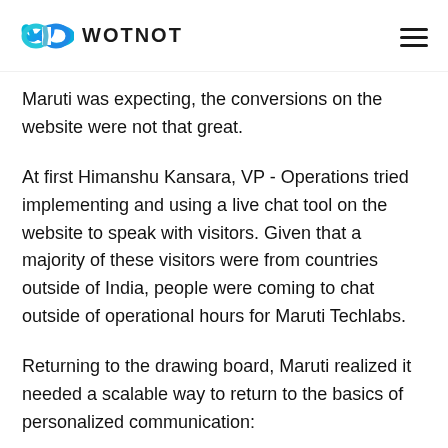WOTNOT
Maruti was expecting, the conversions on the website were not that great.
At first Himanshu Kansara, VP - Operations tried implementing and using a live chat tool on the website to speak with visitors. Given that a majority of these visitors were from countries outside of India, people were coming to chat outside of operational hours for Maruti Techlabs.
Returning to the drawing board, Maruti realized it needed a scalable way to return to the basics of personalized communication: